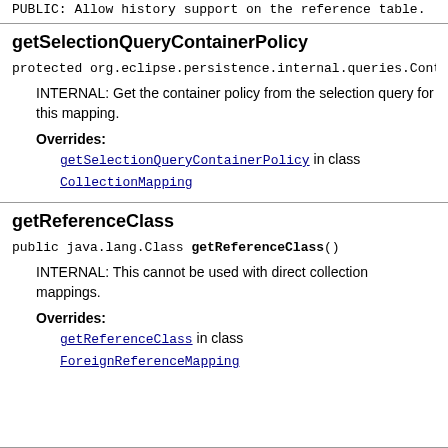PUBLIC: Allow history support on the reference table.
getSelectionQueryContainerPolicy
protected org.eclipse.persistence.internal.queries.Conta...
INTERNAL: Get the container policy from the selection query for this mapping.
Overrides:
getSelectionQueryContainerPolicy in class CollectionMapping
getReferenceClass
public java.lang.Class getReferenceClass()
INTERNAL: This cannot be used with direct collection mappings.
Overrides:
getReferenceClass in class ForeignReferenceMapping